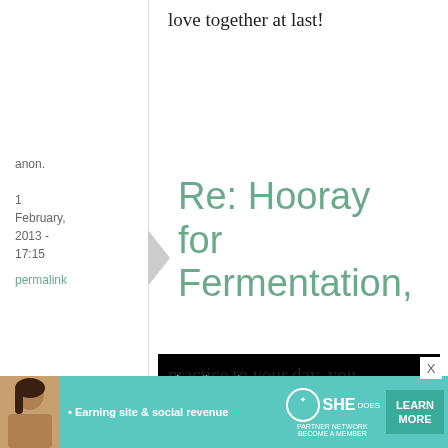love together at last!
anon.
1 February, 2013 - 17:15
permalink
Re: Hooray for Fermentation,
[Figure (screenshot): Video player showing a loading ad screen with spinner and playback controls (pause, fullscreen, mute) on black background]
practice to your day, you
[Figure (infographic): SHE Partner Network advertisement banner with a woman photo, teal background, 'Earning site & social revenue' text, SHE logo, and Learn More button]